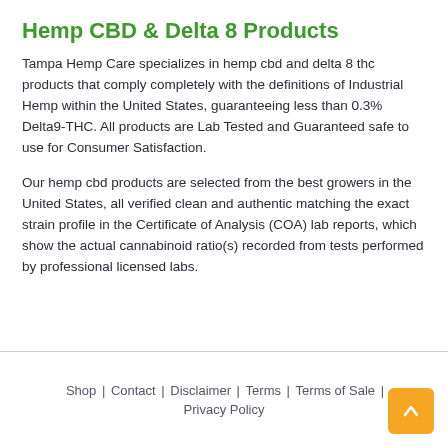Hemp CBD & Delta 8 Products
Tampa Hemp Care specializes in hemp cbd and delta 8 thc products that comply completely with the definitions of Industrial Hemp within the United States, guaranteeing less than 0.3% Delta9-THC. All products are Lab Tested and Guaranteed safe to use for Consumer Satisfaction.
Our hemp cbd products are selected from the best growers in the United States, all verified clean and authentic matching the exact strain profile in the Certificate of Analysis (COA) lab reports, which show the actual cannabinoid ratio(s) recorded from tests performed by professional licensed labs.
Shop | Contact | Disclaimer | Terms | Terms of Sale | Privacy Policy